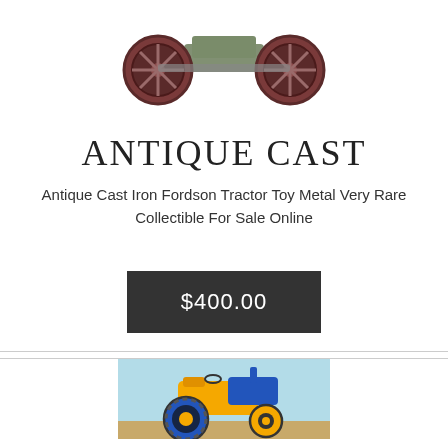[Figure (photo): Antique cast iron Fordson tractor toy with red spoke wheels, viewed from above/front, on white background]
ANTIQUE CAST
Antique Cast Iron Fordson Tractor Toy Metal Very Rare Collectible For Sale Online
$400.00
[Figure (photo): Yellow and blue toy tractor with large black tires on a light blue background]